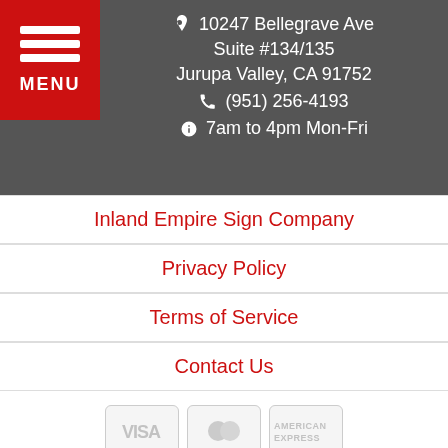[Figure (logo): Red hamburger menu button with three white bars and MENU label]
10247 Bellegrave Ave
Suite #134/135
Jurupa Valley, CA 91752
(951) 256-4193
7am to 4pm Mon-Fri
Inland Empire Sign Company
Privacy Policy
Terms of Service
Contact Us
[Figure (other): Payment card icons: Visa, Mastercard, American Express (greyed out)]
Copyright © 2022 Precision Sign and Graphics
Lead Generation by MarkMyWordsMedia